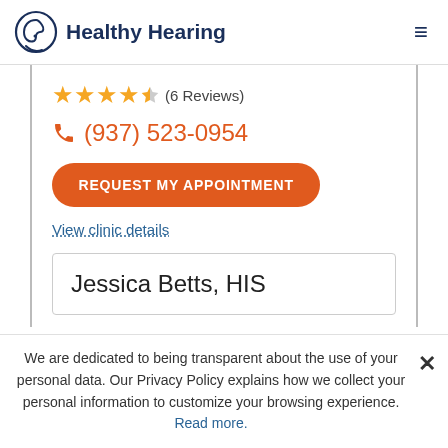Healthy Hearing
★★★★½ (6 Reviews)
(937) 523-0954
REQUEST MY APPOINTMENT
View clinic details
Jessica Betts, HIS
We are dedicated to being transparent about the use of your personal data. Our Privacy Policy explains how we collect your personal information to customize your browsing experience. Read more.